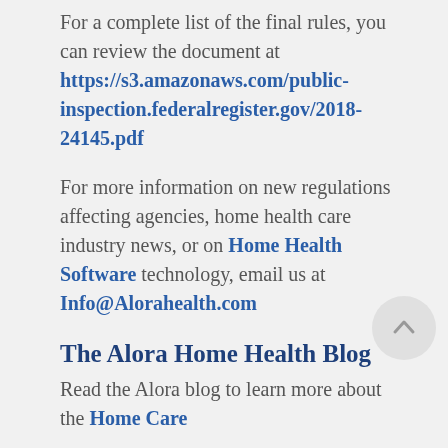For a complete list of the final rules, you can review the document at https://s3.amazonaws.com/public-inspection.federalregister.gov/2018-24145.pdf
For more information on new regulations affecting agencies, home health care industry news, or on Home Health Software technology, email us at Info@Alorahealth.com
The Alora Home Health Blog
Read the Alora blog to learn more about the Home Care